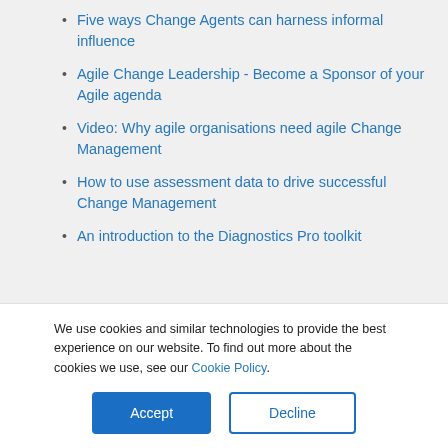Five ways Change Agents can harness informal influence
Agile Change Leadership - Become a Sponsor of your Agile agenda
Video: Why agile organisations need agile Change Management
How to use assessment data to drive successful Change Management
An introduction to the Diagnostics Pro toolkit
SHARE THE BLOG
We use cookies and similar technologies to provide the best experience on our website. To find out more about the cookies we use, see our Cookie Policy.